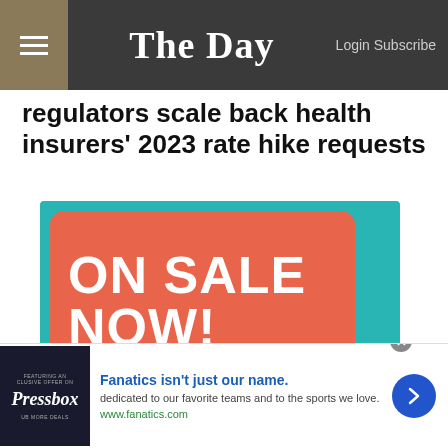The Day — Login Subscribe
regulators scale back health insurers' 2023 rate hike requests
[Figure (illustration): Advertisement banner with teal background and red rounded rectangle containing bold white text 'ON SALE NOW!' and bottom text 'Hardcover books by The Day']
[Figure (illustration): Bottom advertisement bar: Fanatics isn't just our name. dedicated to our favorite teams and to the sports we love. www.fanatics.com. Features Pressbox logo on dark background and blue arrow button.]